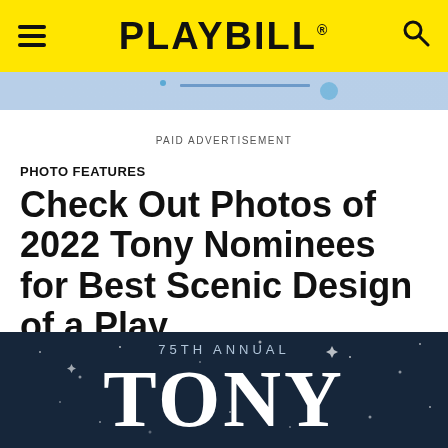PLAYBILL
[Figure (screenshot): Partial advertisement banner strip showing a blue-toned promotional ad]
PAID ADVERTISEMENT
PHOTO FEATURES
Check Out Photos of 2022 Tony Nominees for Best Scenic Design of a Play
[Figure (photo): 75TH ANNUAL TONY awards logo on a dark navy background with star/sparkle effects]